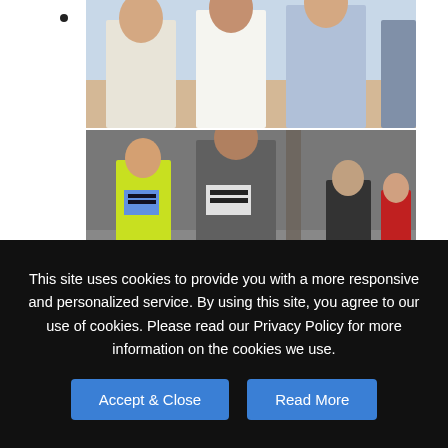[Figure (photo): Group photo of people at a beach, showing three women and part of a man in the background]
[Figure (photo): People running in a race/marathon on a boardwalk, wearing race bibs numbered 8567 and similar]
[Figure (photo): Group photo of people indoors, showing two women, a man, and another woman]
This site uses cookies to provide you with a more responsive and personalized service. By using this site, you agree to our use of cookies. Please read our Privacy Policy for more information on the cookies we use.
Accept & Close
Read More